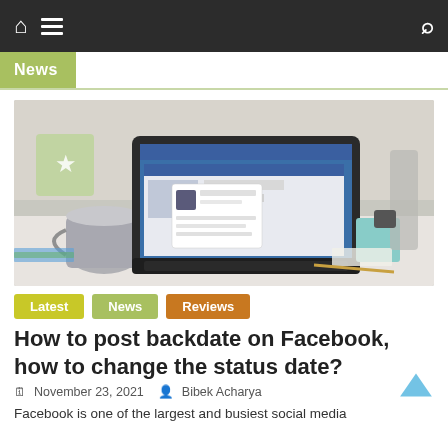Navigation bar with home, menu, and search icons
News
[Figure (photo): Laptop on a desk showing Facebook page, with a silver mug, notebooks, and a teal cube in the background]
Latest
News
Reviews
How to post backdate on Facebook, how to change the status date?
November 23, 2021   Bibek Acharya
Facebook is one of the largest and busiest social media